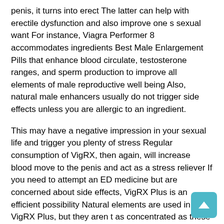penis, it turns into erect The latter can help with erectile dysfunction and also improve one s sexual want For instance, Viagra Performer 8 accommodates ingredients Best Male Enlargement Pills that enhance blood circulate, testosterone ranges, and sperm production to improve all elements of male reproductive well being Also, natural male enhancers usually do not trigger side effects unless you are allergic to an ingredient.
This may have a negative impression in your sexual life and trigger you plenty of stress Regular consumption of VigRX, then again, will increase blood move to the penis and act as a stress reliever If you need to attempt an ED medicine but are concerned about side effects, VigRX Plus is an efficient possibility Natural elements are used in VigRX Plus, but they aren t as concentrated as these present in over the counter male enhancement supplements There aren t any steroids in VigRX Plus that might harm your health in the future Performer eight accommodates a quantity of highly effective herbal extracts that assist you to improve blood flow naturally.
Besides bettering your intercourse drive, producing more testosterone will make you re feeling stronger, livelier, and man... The Sexual Enhancement Pills... Sex Pills...